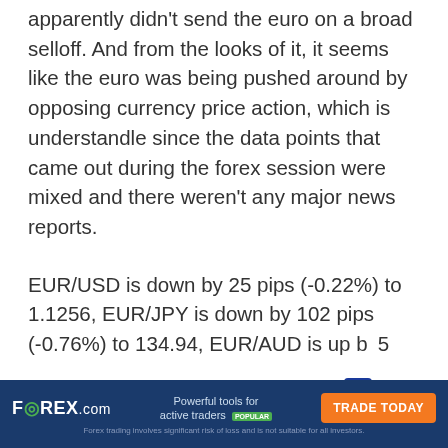DAX and other euro zone stock markets apparently didn't send the euro on a broad selloff. And from the looks of it, it seems like the euro was being pushed around by opposing currency price action, which is understandle since the data points that came out during the forex session were mixed and there weren't any major news reports.
EUR/USD is down by 25 pips (-0.22%) to 1.1256, EUR/JPY is down by 102 pips (-0.76%) to 134.94, EUR/AUD is up b[x]5
[Figure (other): FOREX.com advertisement banner: 'Powerful tools for active traders POPULAR' with 'TRADE TODAY' orange button. Disclaimer: 'Forex trading involves significant risk of loss and is not suitable for all investors.']